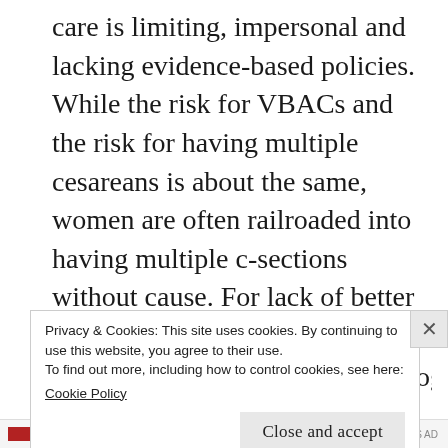care is limiting, impersonal and lacking evidence-based policies. While the risk for VBACs and the risk for having multiple cesareans is about the same, women are often railroaded into having multiple c-sections without cause. For lack of better options, as a culture, we've come to accept the care we've been given. With this form of collaborative care now in the works, hopefully, a new trend is on it's way in.
Midwives and doctors working together seems
Privacy & Cookies: This site uses cookies. By continuing to use this website, you agree to their use.
To find out more, including how to control cookies, see here:
Cookie Policy
Close and accept